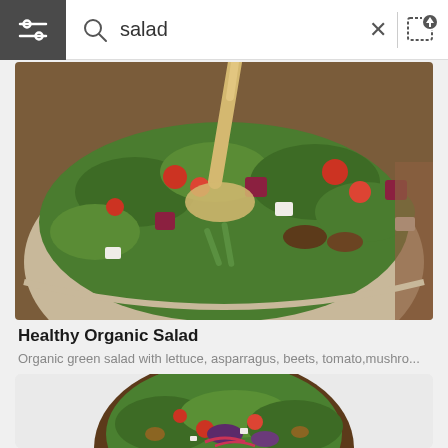[Figure (screenshot): Mobile app search bar with filter icon on dark background on left, search icon, text 'salad', X close button, and image upload icon on right]
[Figure (photo): Close-up photo of a healthy organic salad bowl with dressing being poured, showing lettuce, asparagus, beets, tomatoes, mushrooms, and feta cheese]
Healthy Organic Salad
Organic green salad with lettuce, asparragus, beets, tomato,mushro...
[Figure (photo): Top-down view of a green salad in a dark wooden bowl with tomatoes, purple cabbage, nuts, and feta cheese]